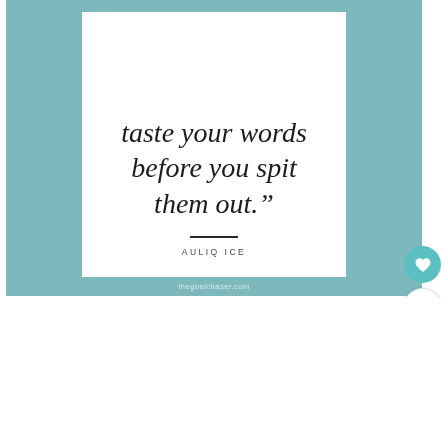[Figure (illustration): A motivational quote card with a teal/blue-green background border and white inner card. The quote reads: 'taste your words before you spit them out.' attributed to AULIQ ICE. Website watermark: thegoalchaser.com. UI overlay elements include a heart button, count of 13, and a share button.]
taste your words before you spit them out."
— AULIQ ICE